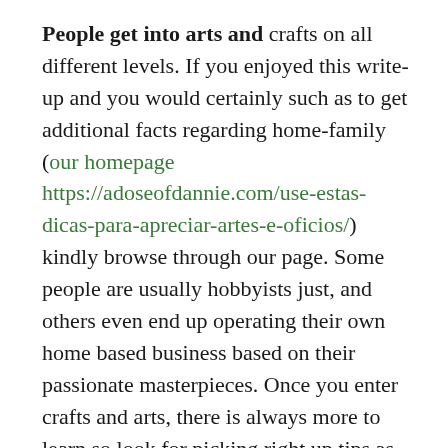People get into arts and crafts on all different levels. If you enjoyed this write-up and you would certainly such as to get additional facts regarding home-family (our homepage https://adoseofdannie.com/use-estas-dicas-para-apreciar-artes-e-oficios/) kindly browse through our page. Some people are usually hobbyists just, and others even end up operating their own home based business based on their passionate masterpieces. Once you enter crafts and arts, there is always more to learn so look for picking right up tips as you read through this article.
Keep your arts and crafts storage area as clean and organized as possible. Many build projects rely on plenty of little items. These pieces are